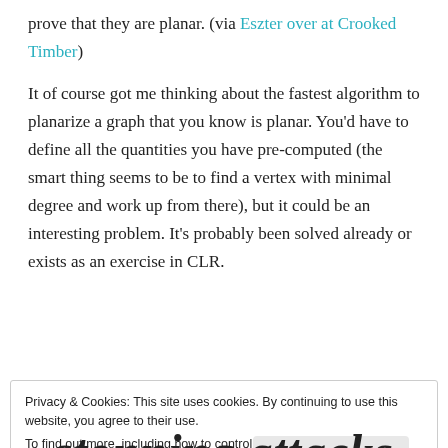prove that they are planar. (via Eszter over at Crooked Timber)
It of course got me thinking about the fastest algorithm to planarize a graph that you know is planar. You'd have to define all the quantities you have pre-computed (the smart thing seems to be to find a vertex with minimal degree and work up from there), but it could be an interesting problem. It's probably been solved already or exists as an exercise in CLR.
Privacy & Cookies: This site uses cookies. By continuing to use this website, you agree to their use.
To find out more, including how to control cookies, see here: Cookie Policy
Close and accept
stonning attacks